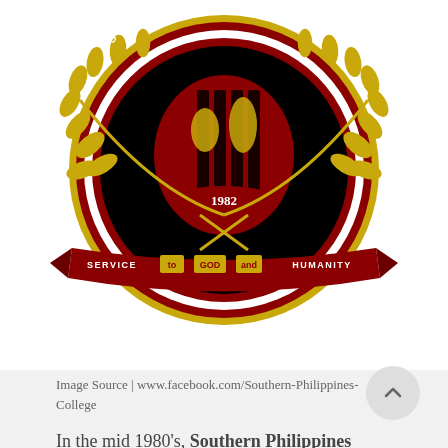[Figure (logo): Southern Philippines College circular seal/logo featuring maroon and gold colors, laurel wreath, shield with symbols, year 1982, and banner reading 'SERVICE to GOD and HUMANITY']
Image Source | www.facebook.com/Southern-Philippines-College
In the mid 1980's, Southern Philippines College (SPC) – at that time called Southern de Oro Philippines College – had a school annex at an old building in Cogon Market facing what is now the new cogon market complex for late afternoon and evening secondary